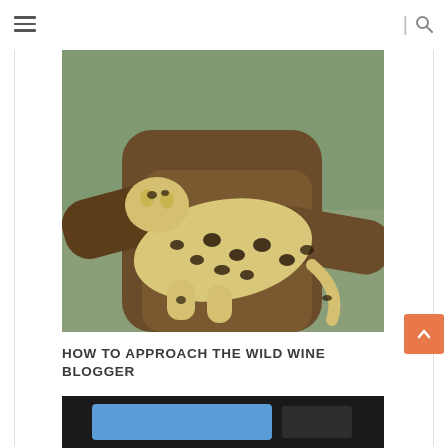Navigation menu and search icon
[Figure (photo): A leopard resting on a tree branch, its spotted coat visible against the brown textured bark. A blurred green background is visible.]
HOW TO APPROACH THE WILD WINE BLOGGER
[Figure (screenshot): Bottom portion of a second image showing a dark background with a blue element, partially visible at the bottom of the page.]